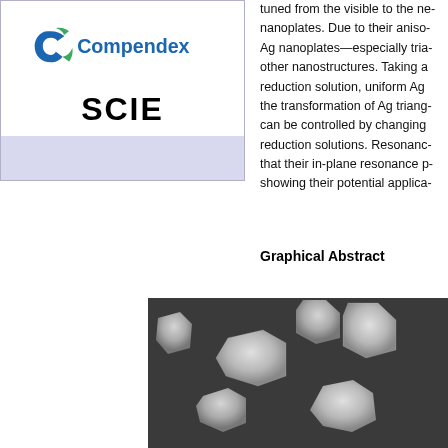[Figure (logo): Compendex logo with blue and green circular icon, text 'Compendex' and 'SCIE' below in black bold letters on white background with lavender/blue bottom panel]
tuned from the visible to the ne... nanoplates. Due to their aniso... Ag nanoplates—especially tria... other nanostructures. Taking a... reduction solution, uniform Ag ... the transformation of Ag triang... can be controlled by changing... reduction solutions. Resonanc... that their in-plane resonance p... showing their potential applica...
Graphical Abstract
[Figure (photo): SEM (scanning electron microscope) image showing silver hexagonal nanoplates on a dark background. Multiple hexagon-shaped nanoparticles visible at high magnification.]